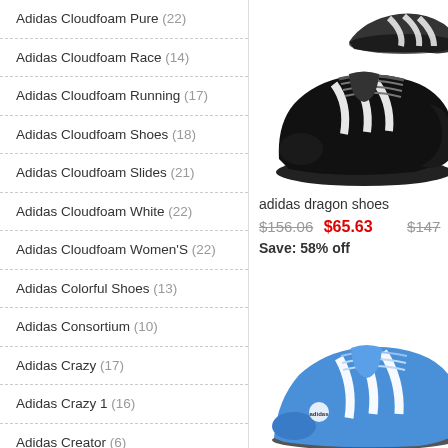Adidas Cloudfoam Pure (22)
Adidas Cloudfoam Race (14)
Adidas Cloudfoam Running (17)
Adidas Cloudfoam Shoes (18)
Adidas Cloudfoam Slides (21)
Adidas Cloudfoam White (22)
Adidas Cloudfoam Women'S (22)
Adidas Colorful Shoes (13)
Adidas Consortium (10)
Adidas Crazy (17)
Adidas Crazy 1 (16)
Adidas Creator (6)
Adidas Dragon Shoes (20)
Adidas Easy (17)
Adidas Energy Boost (20)
Adidas Eqt Adv (15)
[Figure (photo): Black Adidas Dragon shoes with white stripes]
adidas dragon shoes
$156.06  $65.63  $147  Save: 58% off
[Figure (photo): Blue Adidas shoes with white stripes, partially visible at bottom]